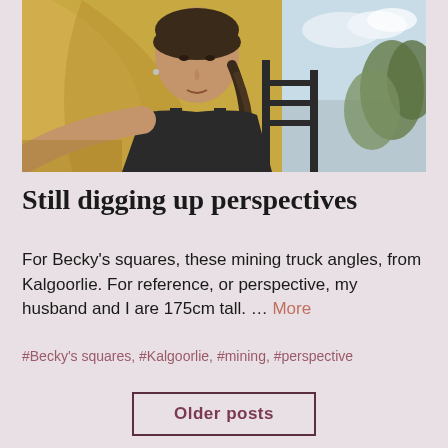[Figure (photo): Selfie photo of a woman with a braided ponytail, wearing a dark tank top, standing next to a large yellow mining truck. Trees and sky are visible in the background.]
Still digging up perspectives
For Becky’s squares, these mining truck angles, from Kalgoorlie. For reference, or perspective, my husband and I are 175cm tall. … More
#Becky’s squares, #Kalgoorlie, #mining, #perspective
Older posts